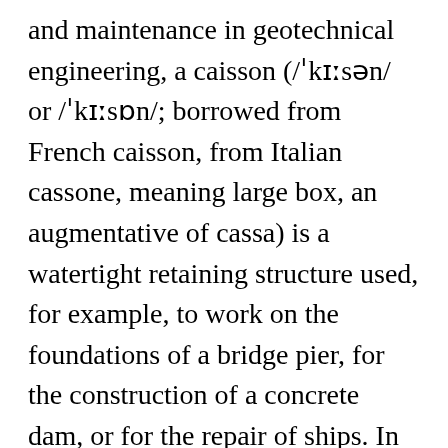and maintenance in geotechnical engineering, a caisson (/ˈkeɪsən/ or /ˈkeɪsɒn/; borrowed from French caisson, from Italian cassone, meaning large box, an augmentative of cassa) is a watertight retaining structure used, for example, to work on the foundations of a bridge pier, for the construction of a concrete dam, or for the repair of ships. In construction definition is - having a job that involves building things. Final phase of fire investigation published. Your abbreviation search returned 233 meanings. https://www.abbreviations.com/PLM, MDP, Magnet Design Program (version 2.0). 'Senior' is one option -- get in to view more @ The Web's largest and most authoritative acronyms and ...